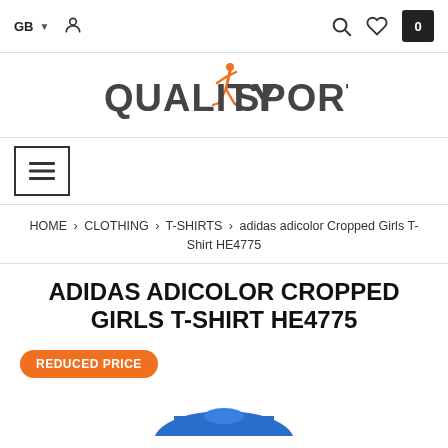GB  [user icon] [search icon] [heart icon] 0
[Figure (logo): Quality Sport logo with orange running figure and dark grey text]
[Figure (other): Hamburger menu button (three horizontal lines) in a square border]
HOME > CLOTHING > T-SHIRTS > adidas adicolor Cropped Girls T-Shirt HE4775
ADIDAS ADICOLOR CROPPED GIRLS T-SHIRT HE4775
REDUCED PRICE
[Figure (photo): Blue adidas adicolor Cropped Girls T-Shirt product photo, partially visible at bottom]